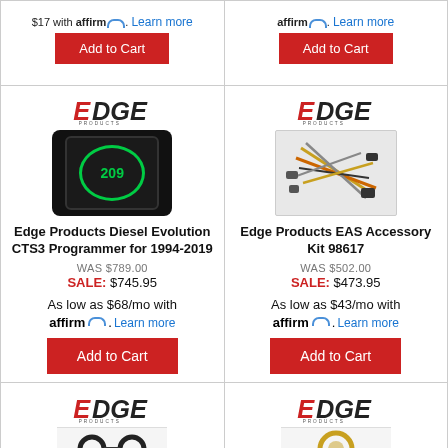$17 with affirm. Learn more
affirm. Learn more
[Figure (other): Add to Cart button (red)]
[Figure (other): Add to Cart button (red)]
[Figure (photo): Edge Products logo and Diesel Evolution CTS3 Programmer device photo]
[Figure (photo): Edge Products logo and EAS Accessory Kit 98617 photo with cables]
Edge Products Diesel Evolution CTS3 Programmer for 1994-2019
Edge Products EAS Accessory Kit 98617
WAS $789.00
SALE: $745.95
WAS $502.00
SALE: $473.95
As low as $68/mo with affirm. Learn more
As low as $43/mo with affirm. Learn more
[Figure (other): Add to Cart button (red)]
[Figure (other): Add to Cart button (red)]
[Figure (photo): Edge Products logo with cable accessory partial image]
[Figure (photo): Edge Products logo with accessory partial image]